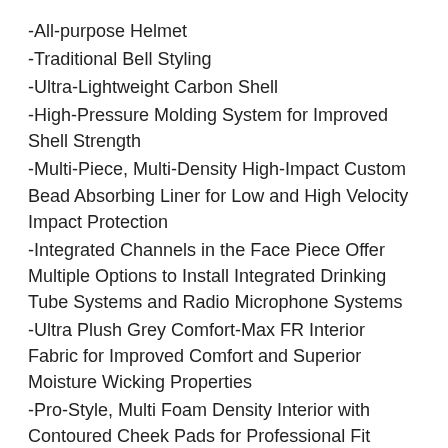-All-purpose Helmet
-Traditional Bell Styling
-Ultra-Lightweight Carbon Shell
-High-Pressure Molding System for Improved Shell Strength
-Multi-Piece, Multi-Density High-Impact Custom Bead Absorbing Liner for Low and High Velocity Impact Protection
-Integrated Channels in the Face Piece Offer Multiple Options to Install Integrated Drinking Tube Systems and Radio Microphone Systems
-Ultra Plush Grey Comfort-Max FR Interior Fabric for Improved Comfort and Superior Moisture Wicking Properties
-Pro-Style, Multi Foam Density Interior with Contoured Cheek Pads for Professional Fit
-Superior Ventilation System Includes Direct Flow Chin Bar Vents and Manual Level Air Intake Vents